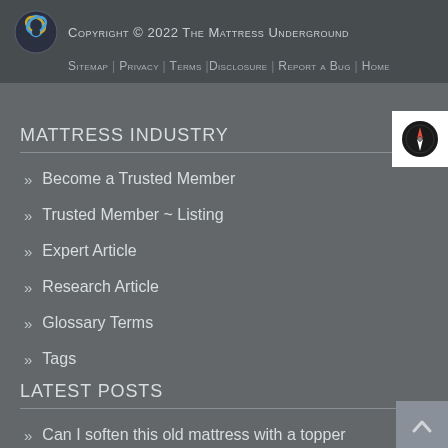Copyright © 2022 The Mattress Underground
Sitemap | Privacy | Terms | Disclosure | Report a Bug | Home
MATTRESS INDUSTRY
Become a Trusted Member
Trusted Member ~ Listing
Expert Article
Research Article
Glossary Terms
Tags
LATEST POSTS
Can I soften this old mattress with a topper